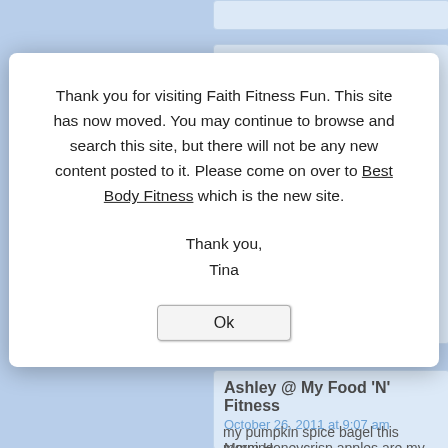Heather (Where's the Beach) sa
October 26, 2011 at 8:29 am
The chutney sounds like an awesome
Thank you for visiting Faith Fitness Fun. This site has now moved. You may continue to browse and search this site, but there will not be any new content posted to it. Please come on over to Best Body Fitness which is the new site.

Thank you,
Tina
Ok
Ashley @ My Food 'N' Fitness
October 26, 2011 at 9:07 am
Mmm Honeycrisp apples are my favori my pumpkin spice bagel this morning them an "extra" grocery item, which we I'm so glad I did too!